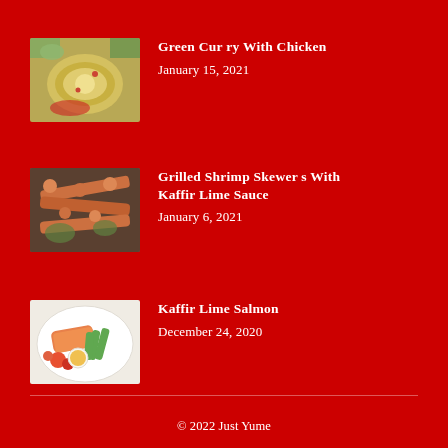[Figure (photo): Photo of green curry with chicken in a bowl]
Green Curry With Chicken
January 15, 2021
[Figure (photo): Photo of grilled shrimp skewers with kaffir lime sauce]
Grilled Shrimp Skewers With Kaffir Lime Sauce
January 6, 2021
[Figure (photo): Photo of kaffir lime salmon with asparagus and sauce]
Kaffir Lime Salmon
December 24, 2020
© 2022 Just Yume